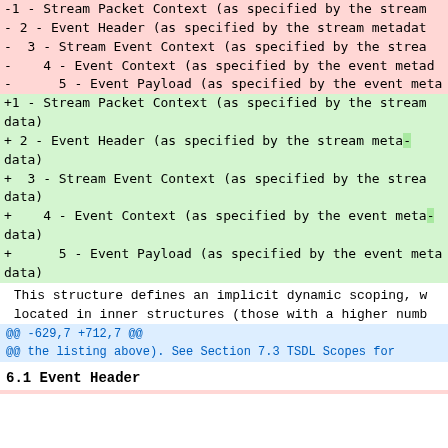-1 - Stream Packet Context (as specified by the stream
- 2 - Event Header (as specified by the stream metadat
-  3 - Stream Event Context (as specified by the strea
-    4 - Event Context (as specified by the event metad
-      5 - Event Payload (as specified by the event meta
+1 - Stream Packet Context (as specified by the stream data)
+ 2 - Event Header (as specified by the stream meta-data)
+  3 - Stream Event Context (as specified by the strea data)
+    4 - Event Context (as specified by the event meta-data)
+      5 - Event Payload (as specified by the event meta data)
This structure defines an implicit dynamic scoping, w
 located in inner structures (those with a higher numb
@@ -629,7 +712,7 @@
@@ the listing above). See Section 7.3 TSDL Scopes for
6.1 Event Header